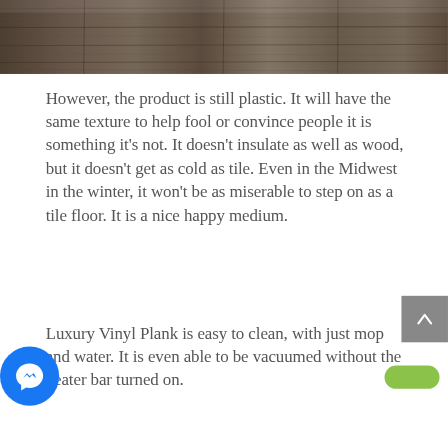[Figure (photo): Partial view of luxury vinyl plank flooring with wood-grain texture in brown/gray tones]
However, the product is still plastic. It will have the same texture to help fool or convince people it is something it's not. It doesn't insulate as well as wood, but it doesn't get as cold as tile. Even in the Midwest in the winter, it won't be as miserable to step on as a tile floor. It is a nice happy medium.
Luxury Vinyl Plank is easy to clean, with just mop and water. It is even able to be vacuumed without the beater bar turned on.